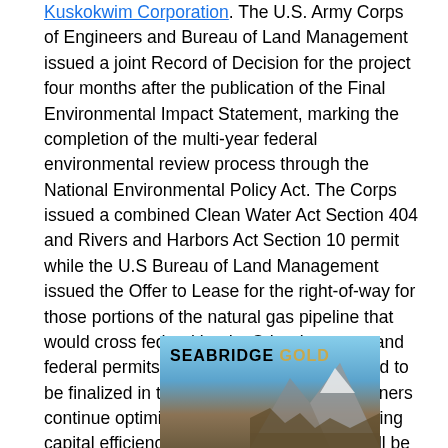Kuskokwim Corporation. The U.S. Army Corps of Engineers and Bureau of Land Management issued a joint Record of Decision for the project four months after the publication of the Final Environmental Impact Statement, marking the completion of the multi-year federal environmental review process through the National Environmental Policy Act. The Corps issued a combined Clean Water Act Section 404 and Rivers and Harbors Act Section 10 permit while the U.S Bureau of Land Management issued the Offer to Lease for the right-of-way for those portions of the natural gas pipeline that would cross federal lands. Other key state and federal permits and approvals are scheduled to be finalized in the near future while the partners continue optimization work aimed at improving capital efficiencies. This new information will be needed to update the 2011 feasibility study.
[Figure (logo): Seabridge Gold advertisement banner with mountain landscape background. Text reads 'SEABRIDGE GOLD' with GOLD in gold/yellow color.]